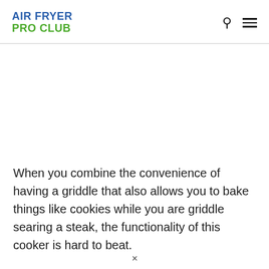AIR FRYER PRO CLUB
When you combine the convenience of having a griddle that also allows you to bake things like cookies while you are griddle searing a steak, the functionality of this cooker is hard to beat.